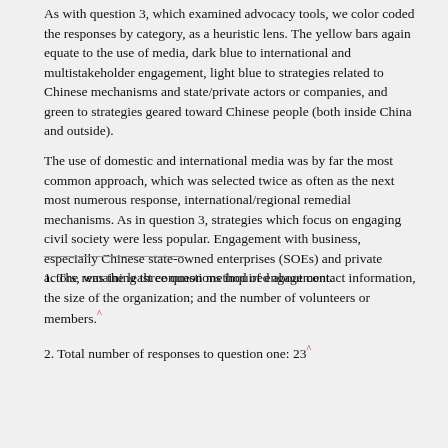As with question 3, which examined advocacy tools, we color coded the responses by category, as a heuristic lens. The yellow bars again equate to the use of media, dark blue to international and multistakeholder engagement, light blue to strategies related to Chinese mechanisms and state/private actors or companies, and green to strategies geared toward Chinese people (both inside China and outside).
The use of domestic and international media was by far the most common approach, which was selected twice as often as the next most numerous response, international/regional remedial mechanisms. As in question 3, strategies which focus on engaging civil society were less popular. Engagement with business, especially Chinese state-owned enterprises (SOEs) and private actors, was the least common method of engagement.
1. The remaining three questions inquired about contact information, the size of the organization; and the number of volunteers or members.^
2. Total number of responses to question one: 23^